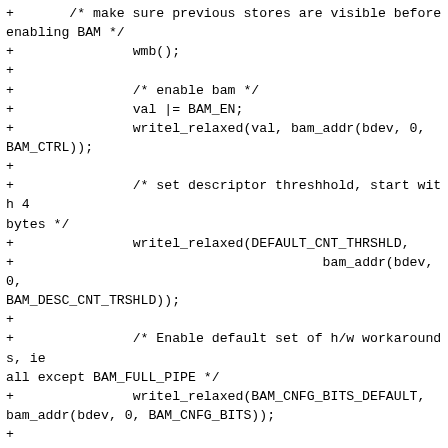+	/* make sure previous stores are visible before enabling BAM */
+		wmb();
+
+		/* enable bam */
+		val |= BAM_EN;
+		writel_relaxed(val, bam_addr(bdev, 0, BAM_CTRL));
+
+		/* set descriptor threshhold, start with 4 bytes */
+		writel_relaxed(DEFAULT_CNT_THRSHLD,
+					bam_addr(bdev, 0, BAM_DESC_CNT_TRSHLD));
+
+		/* Enable default set of h/w workarounds, ie all except BAM_FULL_PIPE */
+		writel_relaxed(BAM_CNFG_BITS_DEFAULT, bam_addr(bdev, 0, BAM_CNFG_BITS));
+
+		/* enable irqs for errors */
+		writel_relaxed(BAM_ERROR_EN | BAM_HRESP_ERR_EN,
+					bam_addr(bdev, 0, BAM_IRQ_EN));
+
+		/* unmask global bam interrupt */
+		writel_relaxed(BAM_IRQ_MSK, bam_addr(bdev, 0, BAM_IRQ_SRCS_MSK_EE));
+}
+
 /**